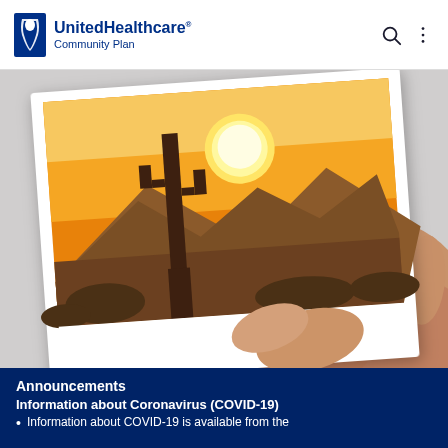UnitedHealthcare Community Plan
[Figure (photo): A hand holding a polaroid photograph of an Arizona desert sunset scene with a saguaro cactus silhouetted against a bright orange and yellow sky with mountains in the background.]
Announcements
Information about Coronavirus (COVID-19)
Information about COVID-19 is available from the